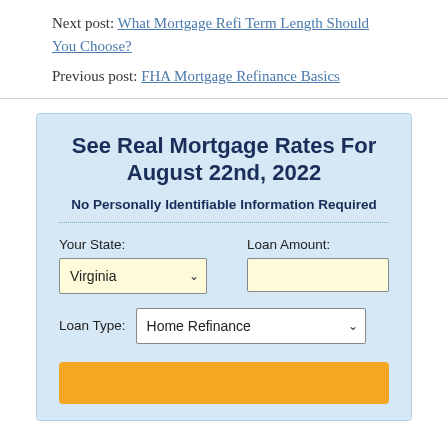Next post: What Mortgage Refi Term Length Should You Choose?
Previous post: FHA Mortgage Refinance Basics
[Figure (other): Mortgage rate widget form with title 'See Real Mortgage Rates For August 22nd, 2022', subtitle 'No Personally Identifiable Information Required', fields for Your State (Virginia dropdown), Loan Amount (text input), Loan Type (Home Refinance dropdown), and an orange submit button.]